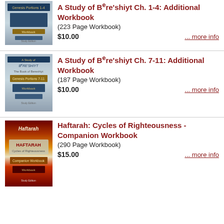[Figure (photo): Book cover for A Study of Bereshiyt Ch. 1-4 Additional Workbook]
A Study of Bere'shiyt Ch. 1-4: Additional Workbook
(223 Page Workbook)
$10.00
... more info
[Figure (photo): Book cover for A Study of Bereshiyt Ch. 7-11 Additional Workbook]
A Study of Bere'shiyt Ch. 7-11: Additional Workbook
(187 Page Workbook)
$10.00
... more info
[Figure (photo): Book cover for Haftarah: Cycles of Righteousness - Companion Workbook]
Haftarah: Cycles of Righteousness - Companion Workbook
(290 Page Workbook)
$15.00
... more info